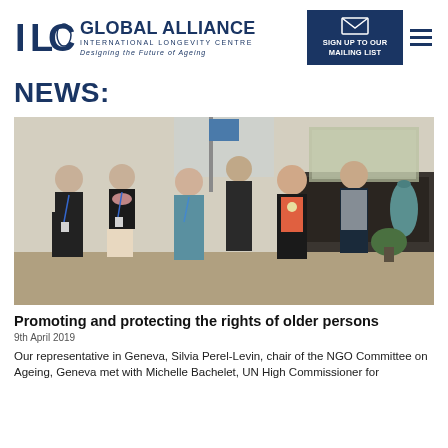[Figure (logo): ILC Global Alliance International Longevity Centre logo with tagline 'Designing the Future of Ageing']
[Figure (other): Dark navy envelope icon with text 'SIGN UP TO OUR MAILING LIST' on dark blue background]
[Figure (other): Hamburger menu icon (three horizontal lines)]
NEWS:
[Figure (photo): Group photo of six people standing together in a formal room. Five women and one man, several wearing lanyards/badges, in front of a UN flag and fireplace with a mirror and teal vase.]
Promoting and protecting the rights of older persons
9th April 2019
Our representative in Geneva, Silvia Perel-Levin, chair of the NGO Committee on Ageing, Geneva met with Michelle Bachelet, UN High Commissioner for